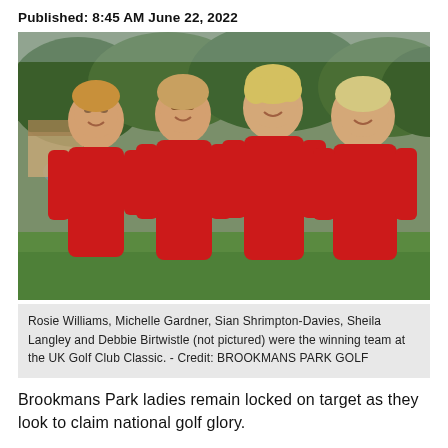Published: 8:45 AM June 22, 2022
[Figure (photo): Four women in red polo shirts smiling and posing together outdoors on a golf course with green trees and a pond visible in the background.]
Rosie Williams, Michelle Gardner, Sian Shrimpton-Davies, Sheila Langley and Debbie Birtwistle (not pictured) were the winning team at the UK Golf Club Classic. - Credit: BROOKMANS PARK GOLF
Brookmans Park ladies remain locked on target as they look to claim national golf glory.